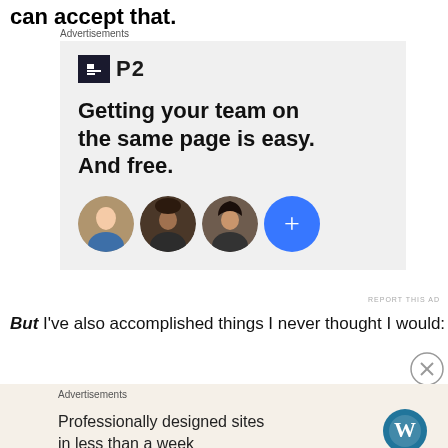can accept that.
[Figure (screenshot): Advertisement for P2 showing logo, headline 'Getting your team on the same page is easy. And free.' with three person avatars and a blue plus button.]
But I've also accomplished things I never thought I would:
[Figure (screenshot): Advertisement for WordPress: 'Professionally designed sites in less than a week' with WordPress logo.]